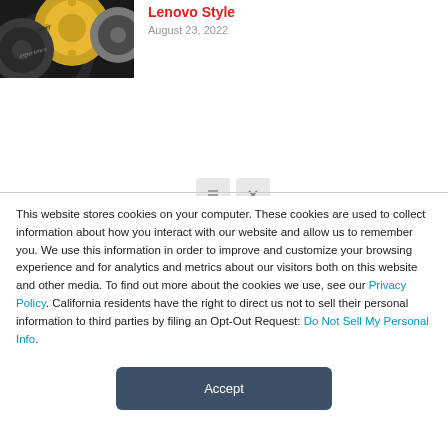[Figure (photo): Close-up photo of interlocking gold and silver metal gears with text 'customer experience' engraved on them]
Lenovo Style
August 23, 2022
This website stores cookies on your computer. These cookies are used to collect information about how you interact with our website and allow us to remember you. We use this information in order to improve and customize your browsing experience and for analytics and metrics about our visitors both on this website and other media. To find out more about the cookies we use, see our Privacy Policy. California residents have the right to direct us not to sell their personal information to third parties by filing an Opt-Out Request: Do Not Sell My Personal Info.
Accept